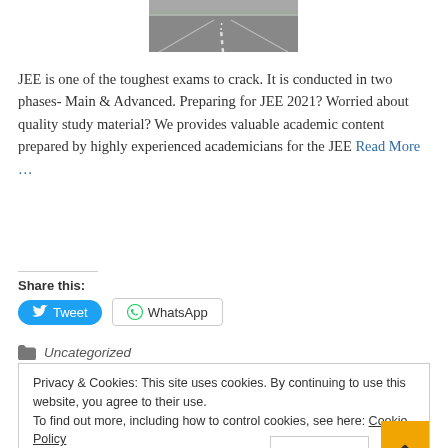[Figure (photo): Partial photo of a road/highway disappearing into the distance, top portion visible]
JEE is one of the toughest exams to crack. It is conducted in two phases- Main & Advanced. Preparing for JEE 2021? Worried about quality study material? We provides valuable academic content prepared by highly experienced academicians for the JEE Read More …
Share this:
Tweet
WhatsApp
Uncategorized
Privacy & Cookies: This site uses cookies. By continuing to use this website, you agree to their use.
To find out more, including how to control cookies, see here: Cookie Policy
Close and a